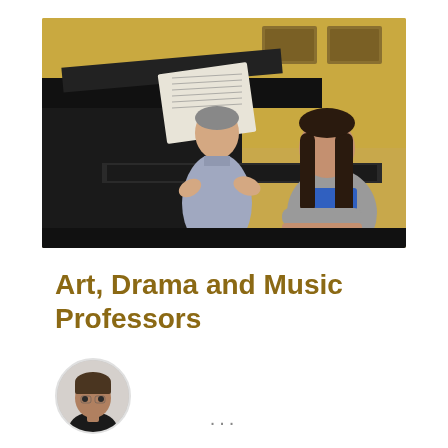[Figure (photo): A music professor standing beside a grand piano, gesturing with hands open, while a female student sits at the piano looking up at him. Sheet music is on the piano stand. The room has a warm yellow wall with framed artwork in the background.]
Art, Drama and Music Professors
[Figure (photo): A circular avatar/profile photo of a man with short hair wearing a dark shirt, shown from shoulders up.]